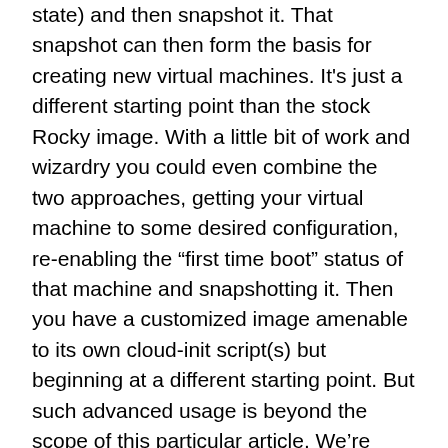state) and then snapshot it. That snapshot can then form the basis for creating new virtual machines. It's just a different starting point than the stock Rocky image. With a little bit of work and wizardry you could even combine the two approaches, getting your virtual machine to some desired configuration, re-enabling the “first time boot” status of that machine and snapshotting it. Then you have a customized image amenable to its own cloud-init script(s) but beginning at a different starting point. But such advanced usage is beyond the scope of this particular article. We’re going to do a few simple things. They illustrate what’s possible.
Cloud-init itself is quite rich. Multiple scripts can be run in a certain order. The scripts can be in any programming language already installed or you can install the language interpreter of your choice.